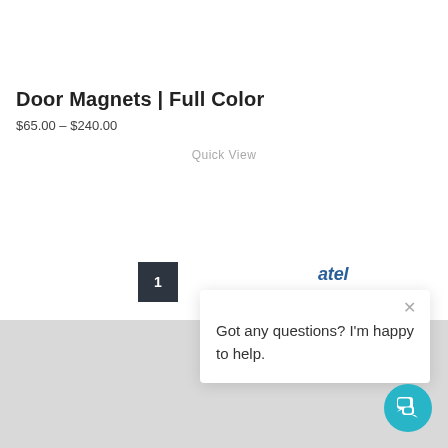Door Magnets | Full Color
$65.00 – $240.00
Quick View
[Figure (other): Dark square box with number 1 inside]
[Figure (other): Partial logo text 'atel' in blue]
Got any questions? I'm happy to help.
[Figure (other): Teal circular chat button with chat bubble icon in bottom right corner]